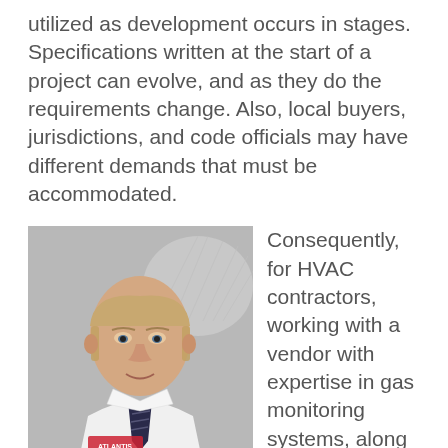utilized as development occurs in stages. Specifications written at the start of a project can evolve, and as they do the requirements change. Also, local buyers, jurisdictions, and code officials may have different demands that must be accommodated.
[Figure (photo): A man in a white dress shirt and dark striped tie wearing an Atlantis badge, photographed from the chest up against a grey wall with a decorative white sculptural piece in the background.]
Consequently, for HVAC contractors, working with a vendor with expertise in gas monitoring systems, along with utilizing advanced modular systems and even